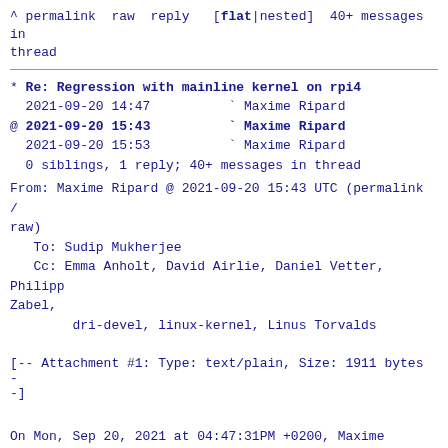^ permalink raw reply  [flat|nested] 40+ messages in thread
* Re: Regression with mainline kernel on rpi4
  2021-09-20 14:47          ` Maxime Ripard
@ 2021-09-20 15:43          ` Maxime Ripard
  2021-09-20 15:53          ` Maxime Ripard
  0 siblings, 1 reply; 40+ messages in thread
From: Maxime Ripard @ 2021-09-20 15:43 UTC (permalink / raw)
  To: Sudip Mukherjee
  Cc: Emma Anholt, David Airlie, Daniel Vetter, Philipp Zabel,
        dri-devel, linux-kernel, Linus Torvalds
[-- Attachment #1: Type: text/plain, Size: 1911 bytes --]
On Mon, Sep 20, 2021 at 04:47:31PM +0200, Maxime Ripard wrote:
> On Sat, Sep 04, 2021 at 10:40:29AM +0100, Sudip Mukherjee wrote:
> > Hi Maxime,
> >
> > On Sat, Sep 4, 2021 at 10:10 AM Maxime Ripard <maxime@cerno.tech> wrote:
> > >
> > > On Fri, Sep 03, 2021 at 09:09:50PM +0100, Sudip Mukherjee wrote: